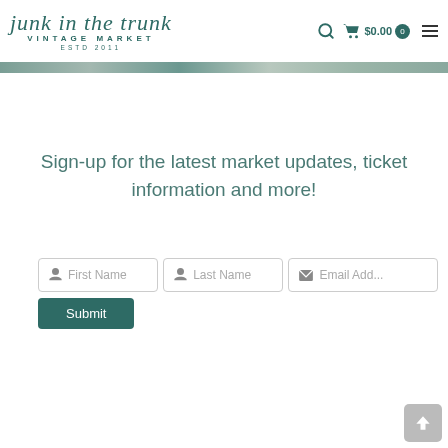[Figure (logo): Junk in the Trunk Vintage Market logo with script font and teal color, ESTD 2011]
[Figure (photo): Narrow banner strip showing a market scene]
Sign-up for the latest market updates, ticket information and more!
[Figure (screenshot): Sign-up form with First Name, Last Name, Email Address fields and a Submit button]